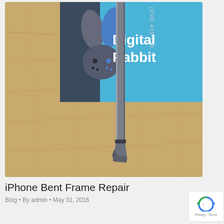[Figure (photo): Photo of a bent iPhone (shown edge-on, bottom corner bent/damaged) on a wooden table, with a Digital Rabbit business card in the background showing the logo (stylized rabbit face), phone number (250) 415-790..., and 'Digital Rabbit' text on a blue/teal background.]
iPhone Bent Frame Repair
Blog • By admin • May 31, 2016